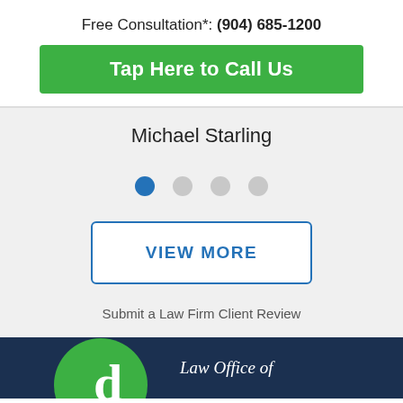Free Consultation*: (904) 685-1200
Tap Here to Call Us
Michael Starling
[Figure (other): Carousel pagination dots: one blue active dot and three gray inactive dots]
VIEW MORE
Submit a Law Firm Client Review
[Figure (logo): Law office logo: green circle with white letter d, dark navy background. Text: Law Office of]